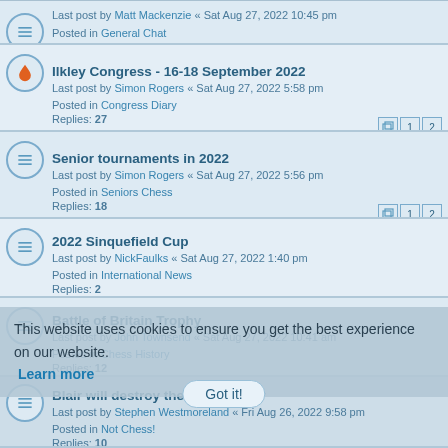Last post by Matt Mackenzie « Sat Aug 27, 2022 10:45 pm
Posted in General Chat
Replies: 9
Ilkley Congress - 16-18 September 2022
Last post by Simon Rogers « Sat Aug 27, 2022 5:58 pm
Posted in Congress Diary
Replies: 27
Senior tournaments in 2022
Last post by Simon Rogers « Sat Aug 27, 2022 5:56 pm
Posted in Seniors Chess
Replies: 18
2022 Sinquefield Cup
Last post by NickFaulks « Sat Aug 27, 2022 1:40 pm
Posted in International News
Replies: 2
Battle of Britain Trophy
Last post by John Townsend « Sat Aug 27, 2022 10:41 am
Posted in Chess History
Replies: 12
Blair will destroy the labour party
Last post by Stephen Westmoreland « Fri Aug 26, 2022 9:58 pm
Posted in Not Chess!
Replies: 10
Boris Johnson
Last post by Stephen Westmoreland « Fri Aug 26, 2022 9:57 pm
Posted in Not Chess!
Replies: 92
Junior 4NCL 2022 - 2023 dates and venues?